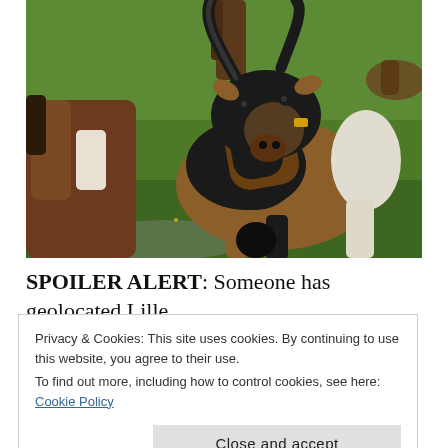[Figure (photo): A photograph of goats, primarily one large black and brown goat with long curved horns standing in a grassy field, facing the camera. Another brown and white goat is partially visible on the left. Green grass background.]
SPOILER ALERT: Someone has geolocated Lille Ti...
Privacy & Cookies: This site uses cookies. By continuing to use this website, you agree to their use.
To find out more, including how to control cookies, see here: Cookie Policy

Close and accept